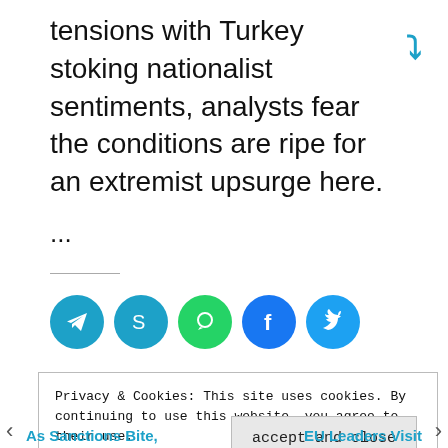tensions with Turkey stoking nationalist sentiments, analysts fear the conditions are ripe for an extremist upsurge here.
...
[Figure (other): Social share buttons: Telegram, Skype, WhatsApp, Facebook, Twitter]
your ad here
Privacy & Cookies: This site uses cookies. By continuing to use this website, you agree to their use.
To find out more, including how to control cookies, see here: Cookie Policy
accept and close
As Sanctions Bite,   EU Leaders Visit